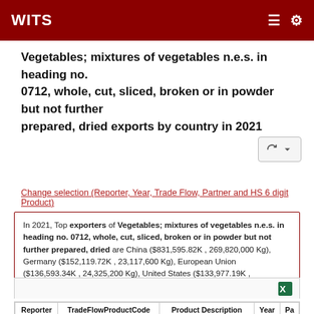WITS
Vegetables; mixtures of vegetables n.e.s. in heading no. 0712, whole, cut, sliced, broken or in powder but not further prepared, dried exports by country in 2021
Change selection (Reporter, Year, Trade Flow, Partner and HS 6 digit Product)
In 2021, Top exporters of Vegetables; mixtures of vegetables n.e.s. in heading no. 0712, whole, cut, sliced, broken or in powder but not further prepared, dried are China ($831,595.82K , 269,820,000 Kg), Germany ($152,119.72K , 23,117,600 Kg), European Union ($136,593.34K , 24,325,200 Kg), United States ($133,977.19K ,
| Reporter | TradeFlowProductCode | Product Description | Year | Pa |
| --- | --- | --- | --- | --- |
|  |  | Vegetables; mixtures of |  |  |